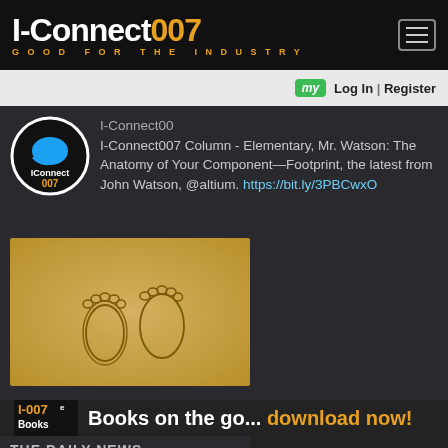I-Connect007 GOOD FOR THE INDUSTRY
I-Connect007 [my] Log In | Register
I-Connect007 Column - Elementary, Mr. Watson: The Anatomy of Your Component—Footprint, the latest from John Watson, @altium. https://bit.ly/3PBCwxO
[Figure (photo): Two human footprints pressed into golden sandy beach]
✔ FREE NEWSLETTERS & MAGAZINES
THE DAILY NEWS
[Figure (logo): I-007e Books ad banner: Books on the go... download now!]